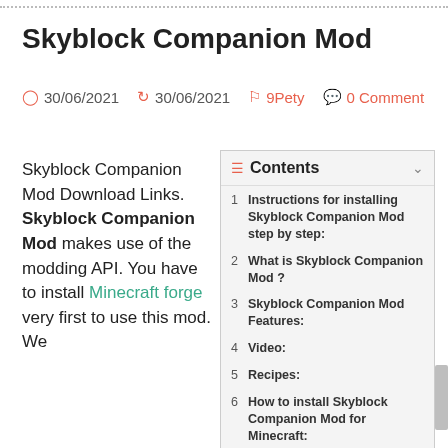Skyblock Companion Mod
30/06/2021  30/06/2021  9Pety  0 Comment
Skyblock Companion Mod Download Links. Skyblock Companion Mod makes use of the modding API. You have to install Minecraft forge very first to use this mod. We
1 Instructions for installing Skyblock Companion Mod step by step:
2 What is Skyblock Companion Mod ?
3 Skyblock Companion Mod Features:
4 Video:
5 Recipes:
6 How to install Skyblock Companion Mod for Minecraft: